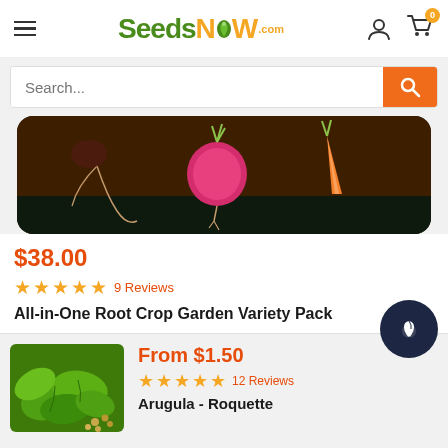SeedsNOW.com
Search...
[Figure (illustration): Product image showing illustrated vegetables (radish, carrot) on dark brown/black background]
$38.00
★★★★★ 9 Reviews
All-in-One Root Crop Garden Variety Pack
[Figure (photo): Photo of arugula lettuce leaves with seeds]
From $1.50
★★★★★ 12 Reviews
Arugula - Roquette